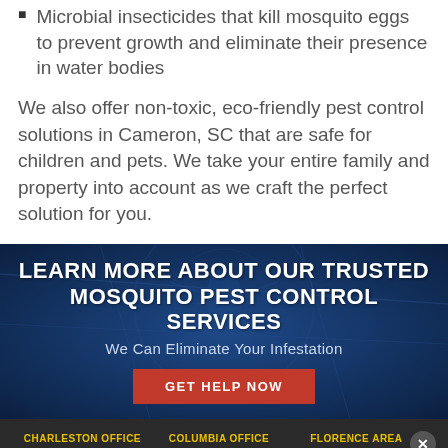Microbial insecticides that kill mosquito eggs to prevent growth and eliminate their presence in water bodies
We also offer non-toxic, eco-friendly pest control solutions in Cameron, SC that are safe for children and pets. We take your entire family and property into account as we craft the perfect solution for you.
[Figure (infographic): Dark blue banner with mosquito background image. Text reads: LEARN MORE ABOUT OUR TRUSTED MOSQUITO PEST CONTROL SERVICES. Subtitle: We Can Eliminate Your Infestation. Red button: GET HELP NOW]
CHARLESTON OFFICE 1-843-766-8298   COLUMBIA OFFICE 1-803-754-3434   FLORENCE AREA 1-843-659-8640
REQUEST APPOINTMENT